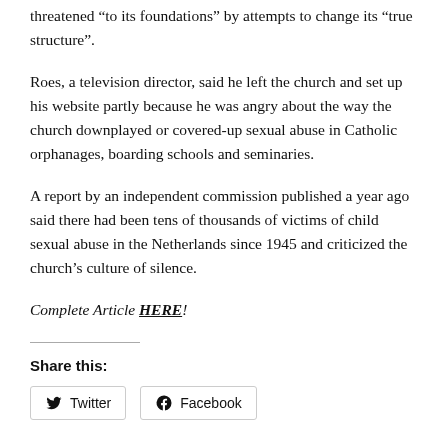threatened “to its foundations” by attempts to change its “true structure”.
Roes, a television director, said he left the church and set up his website partly because he was angry about the way the church downplayed or covered-up sexual abuse in Catholic orphanages, boarding schools and seminaries.
A report by an independent commission published a year ago said there had been tens of thousands of victims of child sexual abuse in the Netherlands since 1945 and criticized the church’s culture of silence.
Complete Article HERE!
Share this:
Twitter  Facebook